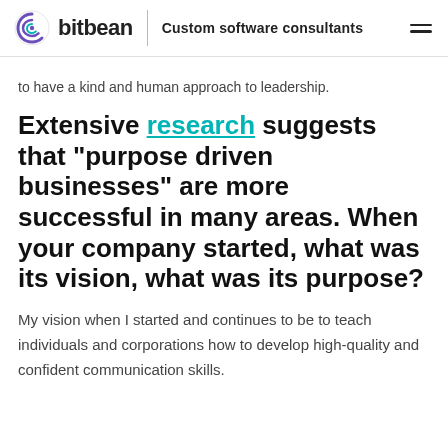bitbean | Custom software consultants
to have a kind and human approach to leadership.
Extensive research suggests that “purpose driven businesses” are more successful in many areas. When your company started, what was its vision, what was its purpose?
My vision when I started and continues to be to teach individuals and corporations how to develop high-quality and confident communication skills.